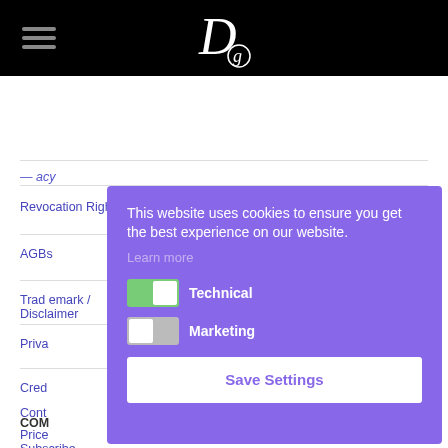Logo / Navigation Header
Revocation Rights / Widerrufsbelehrung
AGBs
Trademark / Disclaimer
Privacy
Credits
COMPANY
Contact
Price
Subscribe Newsletter
[Figure (screenshot): Cookie consent popup overlay with purple background. Text: 'This website uses cookies to ensure you get the best experience on our website.' Learn more link. Toggle for Technical (on, green) and Marketing (off, grey). Save Settings button.]